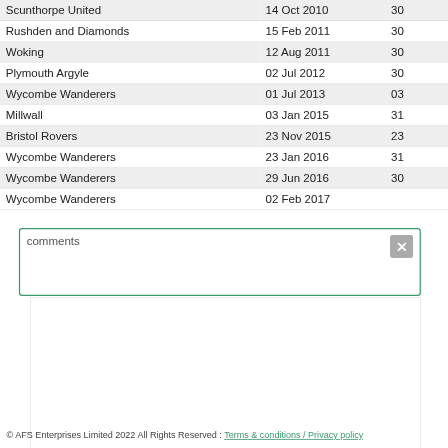| Club | From | To |
| --- | --- | --- |
| Scunthorpe United | 14 Oct 2010 | 30 |
| Rushden and Diamonds | 15 Feb 2011 | 30 |
| Woking | 12 Aug 2011 | 30 |
| Plymouth Argyle | 02 Jul 2012 | 30 |
| Wycombe Wanderers | 01 Jul 2013 | 03 |
| Millwall | 03 Jan 2015 | 31 |
| Bristol Rovers | 23 Nov 2015 | 23 |
| Wycombe Wanderers | 23 Jan 2016 | 31 |
| Wycombe Wanderers | 29 Jun 2016 | 30 |
| Wycombe Wanderers | 02 Feb 2017 |  |
comments
© AFS Enterprises Limited 2022 All Rights Reserved : Terms & conditions / Privacy policy